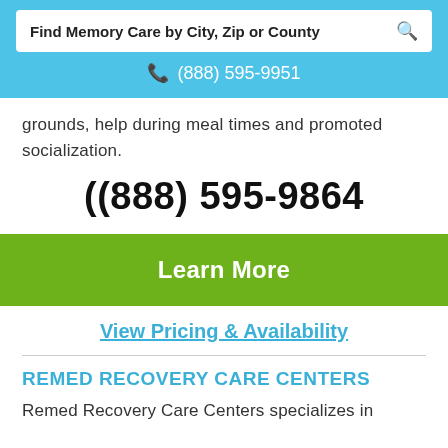Find Memory Care by City, Zip or County
(888) 595-9951
grounds, help during meal times and promoted socialization.
(888) 595-9864
Learn More
View Pricing & Availability
REMED RECOVERY CARE CENTERS
Remed Recovery Care Centers specializes in